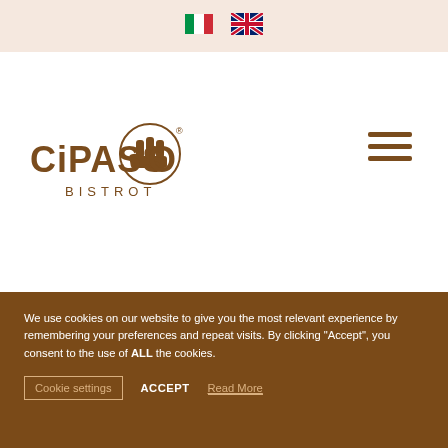[Figure (logo): Italian flag icon (green-white-red vertical stripes)]
[Figure (logo): UK flag icon (Union Jack)]
[Figure (logo): CiPASSO Bistrot logo - brown text with fist graphic and registered trademark symbol]
[Figure (other): Hamburger menu icon - three horizontal brown lines]
We use cookies on our website to give you the most relevant experience by remembering your preferences and repeat visits. By clicking “Accept”, you consent to the use of ALL the cookies.
Cookie settings   ACCEPT   Read More